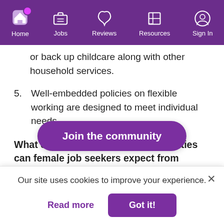Home | Jobs | Reviews | Resources | Sign In
or back up childcare along with other household services.
5. Well-embedded policies on flexible working are designed to meet individual needs.
What career development opportunities can female job seekers expect from Sonoco? How is career pathing appro...
At Sonoco, we b... businesses,
[Figure (other): Join the community button overlay]
Our site uses cookies to improve your experience.
Read more | Got it!
positive engagement score, and we've retained 30% of